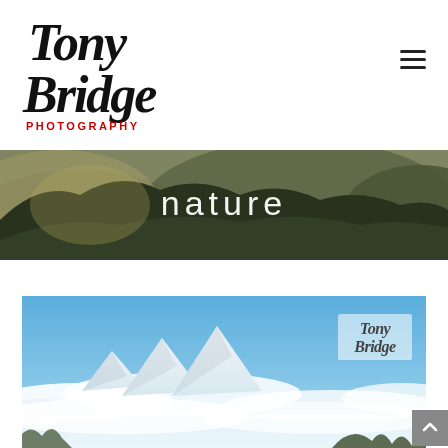[Figure (logo): Tony Bridge Photography handwritten-style logo with black cursive text and red 'PHOTOGRAPHY' subtitle]
[Figure (photo): Wide panoramic banner photo of forested green mountains with the word 'nature' overlaid in white text]
[Figure (photo): Landscape photo showing snow-capped mountains above a cloud inversion with blue sky, Tony Bridge watermark logo visible in upper right corner]